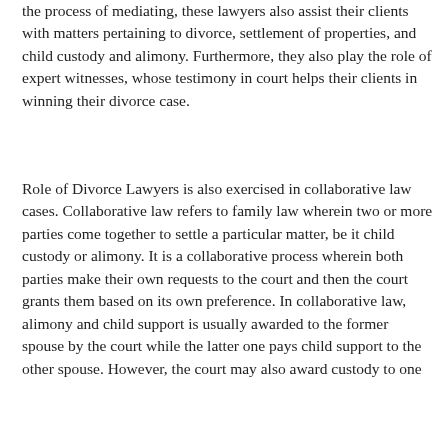the process of mediating, these lawyers also assist their clients with matters pertaining to divorce, settlement of properties, and child custody and alimony. Furthermore, they also play the role of expert witnesses, whose testimony in court helps their clients in winning their divorce case.
Role of Divorce Lawyers is also exercised in collaborative law cases. Collaborative law refers to family law wherein two or more parties come together to settle a particular matter, be it child custody or alimony. It is a collaborative process wherein both parties make their own requests to the court and then the court grants them based on its own preference. In collaborative law, alimony and child support is usually awarded to the former spouse by the court while the latter one pays child support to the other spouse. However, the court may also award custody to one